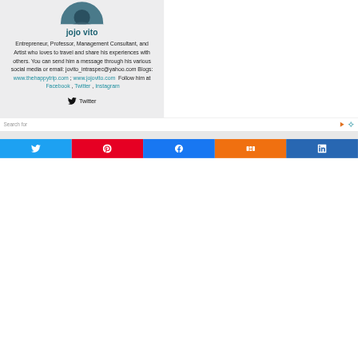[Figure (photo): Circular avatar photo of jojo vito at the top of the profile card]
jojo vito
Entrepreneur, Professor, Management Consultant, and Artist who loves to travel and share his experiences with others. You can send him a message through his various social media or email: jovito_intraspec@yahoo.com Blogs: www.thehappytrip.com ; www.jojovito.com  Follow him at  Facebook ,  Twitter ,  Instagram
Twitter
Search for
[Figure (other): Social share buttons row: Twitter, Pinterest, Facebook, Mix, LinkedIn]